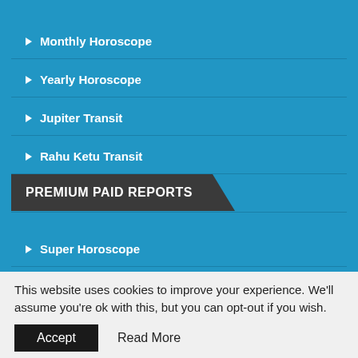Monthly Horoscope
Yearly Horoscope
Jupiter Transit
Rahu Ketu Transit
Saturn Transit
PREMIUM PAID REPORTS
Super Horoscope
In-Depth Horoscope
This website uses cookies to improve your experience. We'll assume you're ok with this, but you can opt-out if you wish.
Accept   Read More